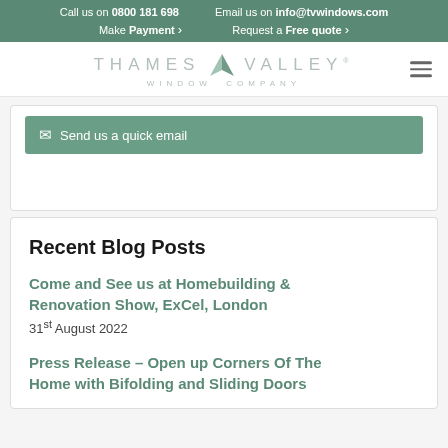Call us on 0800 181 698  Email us on info@tvwindows.com  Make Payment >  Request a Free quote >
[Figure (logo): Thames Valley Window Company logo with stylized leaf/valley icon between the words THAMES and VALLEY, and WINDOW COMPANY below]
Send us a quick email
Recent Blog Posts
Come and See us at Homebuilding & Renovation Show, ExCel, London
31st August 2022
Press Release – Open up Corners Of The Home with Bifolding and Sliding Doors